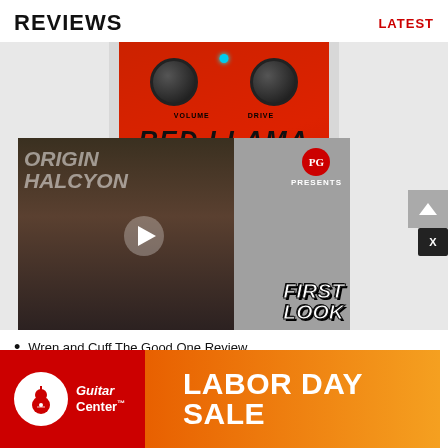REVIEWS | LATEST
[Figure (photo): Red Llama guitar effects pedal with VOLUME and DRIVE knobs on a red body, with a video thumbnail overlay showing a person holding a small green guitar pedal, with PG PRESENTS logo and FIRST LOOK text graphic]
Wren and Cuff The Good One Review
Catc…
Guth…
[Figure (logo): Guitar Center LABOR DAY SALE advertisement banner with red and orange gradient background]